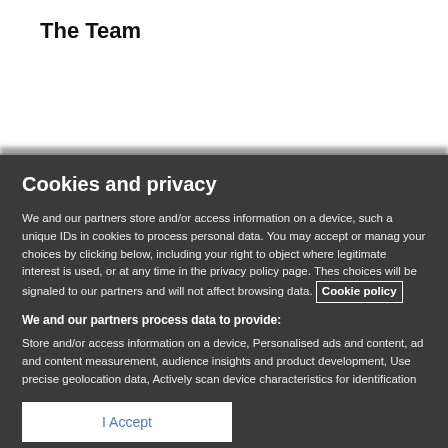The Team
Cookies and privacy
We and our partners store and/or access information on a device, such as unique IDs in cookies to process personal data. You may accept or manage your choices by clicking below, including your right to object where legitimate interest is used, or at any time in the privacy policy page. These choices will be signaled to our partners and will not affect browsing data. Cookie policy
We and our partners process data to provide:
Store and/or access information on a device, Personalised ads and content, ad and content measurement, audience insights and product development, Use precise geolocation data, Actively scan device characteristics for identification
List of Partners (vendors)
I Accept